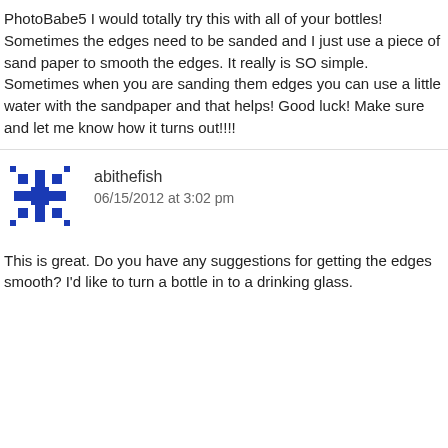PhotoBabe5 I would totally try this with all of your bottles! Sometimes the edges need to be sanded and I just use a piece of sand paper to smooth the edges. It really is SO simple. Sometimes when you are sanding them edges you can use a little water with the sandpaper and that helps! Good luck! Make sure and let me know how it turns out!!!!
abithefish
06/15/2012 at 3:02 pm
This is great. Do you have any suggestions for getting the edges smooth? I'd like to turn a bottle in to a drinking glass.